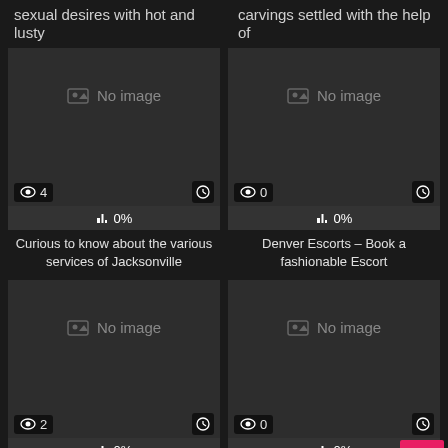sexual desires with hot and lusty
carvings settled with the help of
[Figure (screenshot): Card with 'No image' placeholder, 4 views, 0% rating]
Curious to know about the various services of Jacksonville
[Figure (screenshot): Card with 'No image' placeholder, 0 views, 0% rating]
Denver Escorts – Book a fashionable Escort
[Figure (screenshot): Card with 'No image' placeholder, 2 views, 0% rating]
Why should you choose the exciting Salt Lake City Female
[Figure (screenshot): Card with 'No image' placeholder, 0 views, 0% rating, with pink back-to-top button overlay]
Lose yourself in the exotic sensations of Pittsburgh escorts